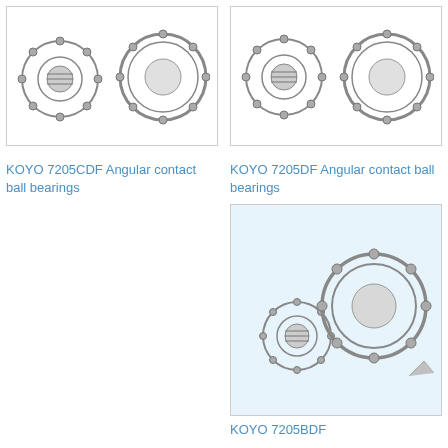[Figure (photo): KOYO 7205CDF angular contact ball bearing - two exploded bearing components shown side by side]
[Figure (photo): KOYO 7205DF angular contact ball bearing - two exploded bearing components shown side by side]
KOYO 7205CDF Angular contact ball bearings
KOYO 7205DF Angular contact ball bearings
[Figure (photo): KOYO 7205BDF angular contact ball bearing - two bearing components shown on light blue background]
KOYO 7205BDF